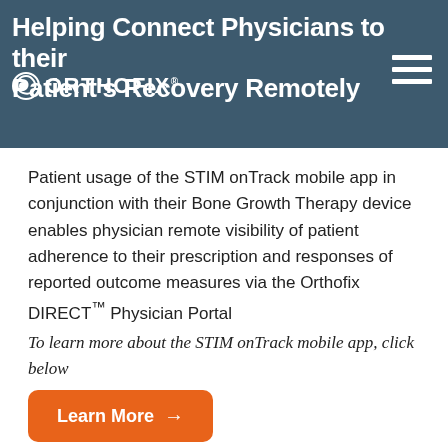Helping Connect Physicians to their Patient's Recovery Remotely
[Figure (logo): Orthofix logo with circular icon and text ORTHOFIX in white on dark teal banner]
Patient usage of the STIM onTrack mobile app in conjunction with their Bone Growth Therapy device enables physician remote visibility of patient adherence to their prescription and responses of reported outcome measures via the Orthofix DIRECT™ Physician Portal
To learn more about the STIM onTrack mobile app, click below
Learn More →